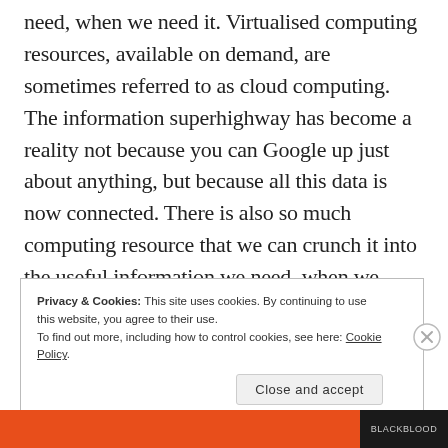need, when we need it. Virtualised computing resources, available on demand, are sometimes referred to as cloud computing. The information superhighway has become a reality not because you can Google up just about anything, but because all this data is now connected. There is also so much computing resource that we can crunch it into the useful information we need, when we need it.
Privacy & Cookies: This site uses cookies. By continuing to use this website, you agree to their use. To find out more, including how to control cookies, see here: Cookie Policy
Close and accept